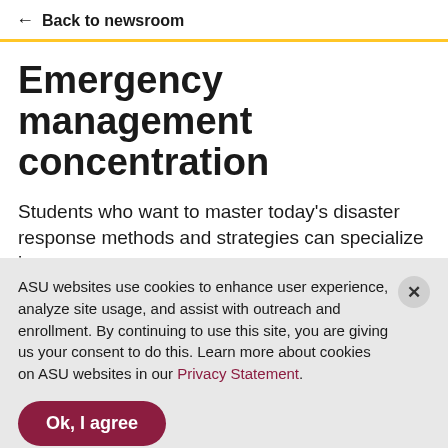← Back to newsroom
Emergency management concentration
Students who want to master today's disaster response methods and strategies can specialize in
ASU websites use cookies to enhance user experience, analyze site usage, and assist with outreach and enrollment. By continuing to use this site, you are giving us your consent to do this. Learn more about cookies on ASU websites in our Privacy Statement.
Ok, I agree
Apply now   Contact